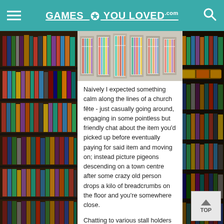GAMES YOU LOVED .com
[Figure (photo): Top-down view of rows of game cartridges or cases in bins, resembling a game store or market stall display.]
Naively I expected something calm along the lines of a church fête - just casually going around, engaging in some pointless but friendly chat about the item you'd picked up before eventually paying for said item and moving on; instead picture pigeons descending on a town centre after some crazy old person drops a kilo of breadcrumbs on the floor and you're somewhere close.
Chatting to various stall holders who had attended previous LGM's I was told that the organisers had removed a partition to open up the room as the last event was separated between video games and board games and definitely not a good thing.